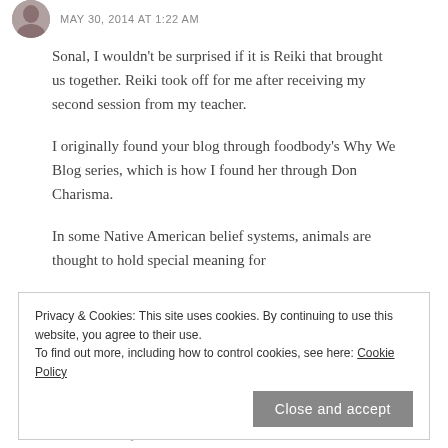MAY 30, 2014 AT 1:22 AM
Sonal, I wouldn't be surprised if it is Reiki that brought us together. Reiki took off for me after receiving my second session from my teacher.
I originally found your blog through foodbody's Why We Blog series, which is how I found her through Don Charisma.
In some Native American belief systems, animals are thought to hold special meaning for
Privacy & Cookies: This site uses cookies. By continuing to use this website, you agree to their use.
To find out more, including how to control cookies, see here: Cookie Policy
Close and accept
wolf for family matters, and the crow for me